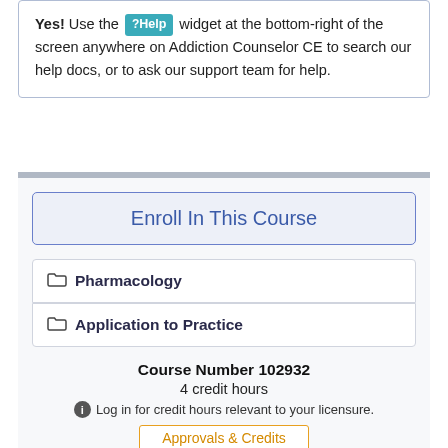Yes! Use the ?Help widget at the bottom-right of the screen anywhere on Addiction Counselor CE to search our help docs, or to ask our support team for help.
Enroll In This Course
Pharmacology
Application to Practice
Course Number 102932
4 credit hours
Log in for credit hours relevant to your licensure.
Approvals & Credits